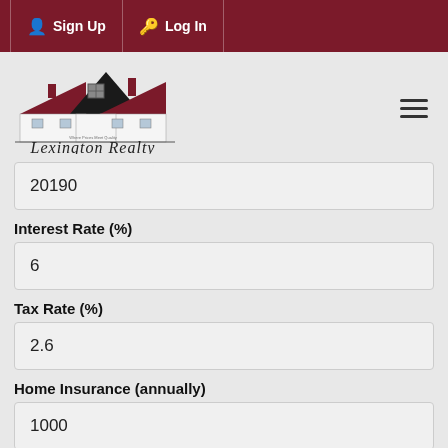Sign Up  Log In
[Figure (logo): Lexington Realty logo with house silhouette and script text]
20190
Interest Rate (%)
6
Tax Rate (%)
2.6
Home Insurance (annually)
1000